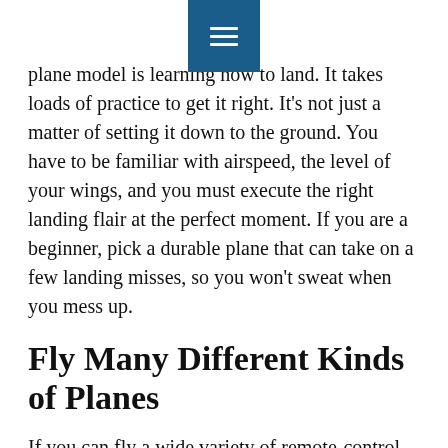≡
plane model is learning how to land. It takes loads of practice to get it right. It's not just a matter of setting it down to the ground. You have to be familiar with airspeed, the level of your wings, and you must execute the right landing flair at the perfect moment. If you are a beginner, pick a durable plane that can take on a few landing misses, so you won't sweat when you mess up.
Fly Many Different Kinds of Planes
If you can fly a wide variety of remote-control planes, you will become a more experienced and skilled RC pilot. You can try your buddies' planes if they let you. Practicing on a simulator is another great option. As the old saying goes, practice does indeed make